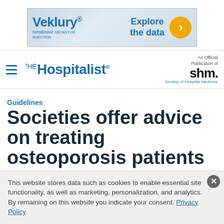[Figure (other): Veklury (remdesivir) advertisement banner with text 'Explore the data' and orange arrow circle button]
≡ THE Hospitalist | An Official Publication of SHM Society of Hospital Medicine
Guidelines
Societies offer advice on treating osteoporosis patients
This website stores data such as cookies to enable essential site functionality, as well as marketing, personalization, and analytics. By remaining on this website you indicate your consent. Privacy Policy